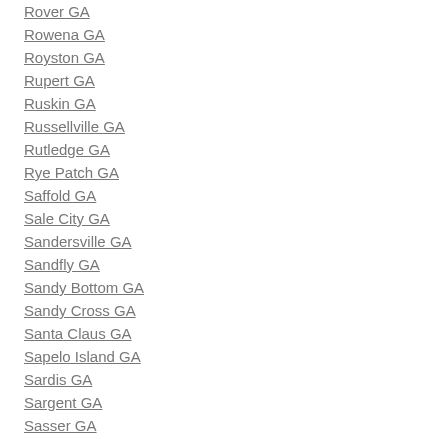Rover GA
Rowena GA
Royston GA
Rupert GA
Ruskin GA
Russellville GA
Rutledge GA
Rye Patch GA
Saffold GA
Sale City GA
Sandersville GA
Sandfly GA
Sandy Bottom GA
Sandy Cross GA
Santa Claus GA
Sapelo Island GA
Sardis GA
Sargent GA
Sasser GA